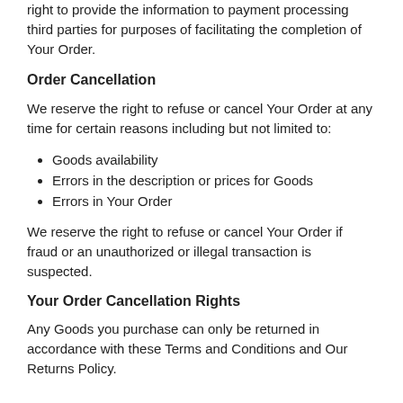right to provide the information to payment processing third parties for purposes of facilitating the completion of Your Order.
Order Cancellation
We reserve the right to refuse or cancel Your Order at any time for certain reasons including but not limited to:
Goods availability
Errors in the description or prices for Goods
Errors in Your Order
We reserve the right to refuse or cancel Your Order if fraud or an unauthorized or illegal transaction is suspected.
Your Order Cancellation Rights
Any Goods you purchase can only be returned in accordance with these Terms and Conditions and Our Returns Policy.